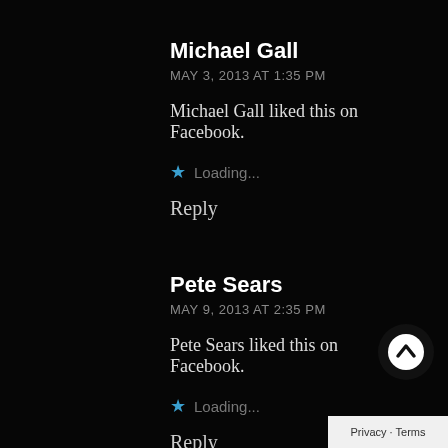Michael Gall
MAY 3, 2013 AT 1:35 PM
Michael Gall liked this on Facebook.
★ Loading...
Reply
Pete Sears
MAY 9, 2013 AT 2:35 PM
Pete Sears liked this on Facebook.
★ Loading...
Reply